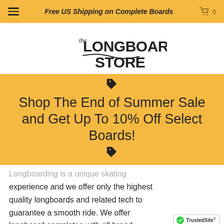Free US Shipping on Complete Boards
[Figure (logo): The Longboard Store logo in hand-lettered style black text]
Shop The End of Summer Sale and Get Up To 10% Off Select Boards!
Longboarding is a unique skating experience and we offer only the highest quality longboards and related tech to guarantee a smooth ride. We offer longboard completes with all brand certified equipment. However, if